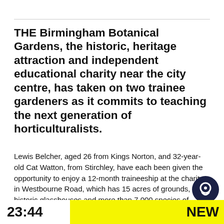THE Birmingham Botanical Gardens, the historic, heritage attraction and independent educational charity near the city centre, has taken on two trainee gardeners as it commits to teaching the next generation of horticulturalists.
Lewis Belcher, aged 26 from Kings Norton, and 32-year-old Cat Watton, from Stirchley, have each been given the opportunity to enjoy a 12-month traineeship at the charity in Westbourne Road, which has 15 acres of grounds, four historic glasshouses and more than 7,000 species of plants – one of the most diverse collections in the Midlands.
Cat gained her traineeship through the WRAG Sche...
23:44  NEW